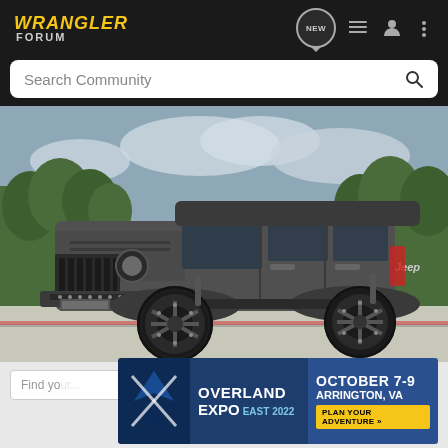WRANGLER FORUM
Search Community
[Figure (photo): Gray lifted Jeep Wrangler Unlimited 4-door with large black off-road wheels and mud tires, parked on a street with trees in the background and cloudy sky]
Find your...
[Figure (infographic): Overland Expo East 2022 advertisement banner: October 7-9, Arrington, VA, Plan Your Adventure button, with Overland Expo logo and image of a Jeep on a trail]